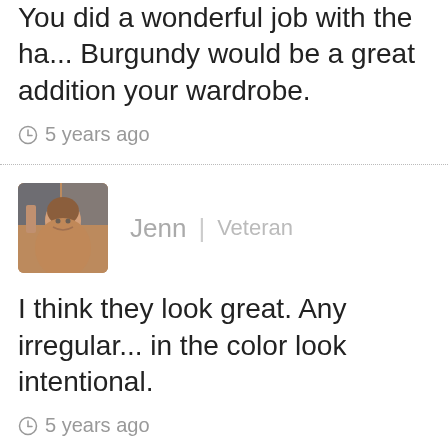You did a wonderful job with the ha... Burgundy would be a great addition your wardrobe.
5 years ago
Jenn | Veteran
I think they look great. Any irregular... in the color look intentional.
5 years ago